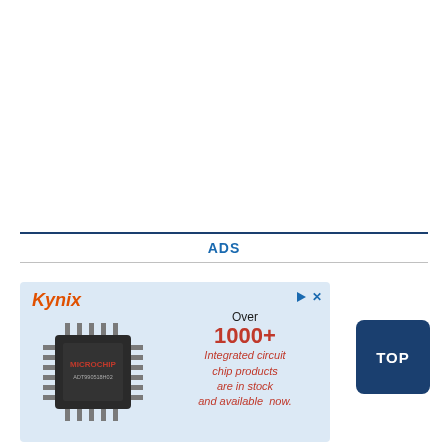ADS
[Figure (illustration): Kynix advertisement banner with a microchip image on the left and text on the right reading 'Over 1000+ Integrated circuit chip products are in stock and available now.' on a light blue background. Kynix logo in orange-red italic text top-left. Ad indicator icons (triangle and X) in top-right corner.]
[Figure (other): Dark blue rounded rectangle button with white text 'TOP']